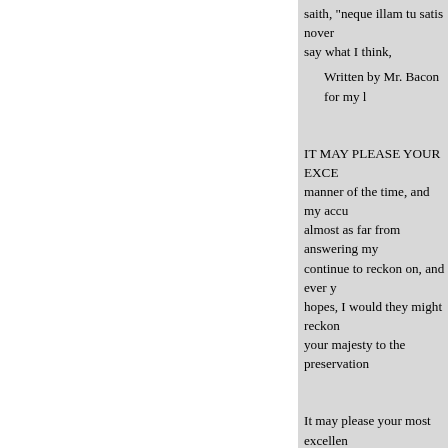saith, "neque illam tu satis nover... say what I think,
Written by Mr. Bacon for my l...
IT MAY PLEASE YOUR EXCE... manner of the time, and my accu... almost as far from answering my... continue to reckon on, and ever y... hopes, I would they might reckon... your majesty to the preservation...
It may please your most excellen... absence to any weakness of mind... strongly upon me, standing as I c... should not decline the occasions,... that I am able to do. My course t... and never poor gentleman (as I a... safety, your repose of mind, your... crave your majesty's pardon for n... vocation, I most humbly crave G... and want of comfort, which I jud... this age, wherein the old anthr...